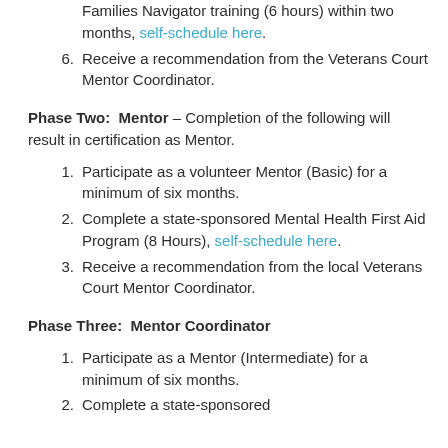Families Navigator training (6 hours) within two months, self-schedule here.
Receive a recommendation from the Veterans Court Mentor Coordinator.
Phase Two:  Mentor – Completion of the following will result in certification as Mentor.
Participate as a volunteer Mentor (Basic) for a minimum of six months.
Complete a state-sponsored Mental Health First Aid Program (8 Hours), self-schedule here.
Receive a recommendation from the local Veterans Court Mentor Coordinator.
Phase Three:  Mentor Coordinator
Participate as a Mentor (Intermediate) for a minimum of six months.
Complete a state-sponsored...